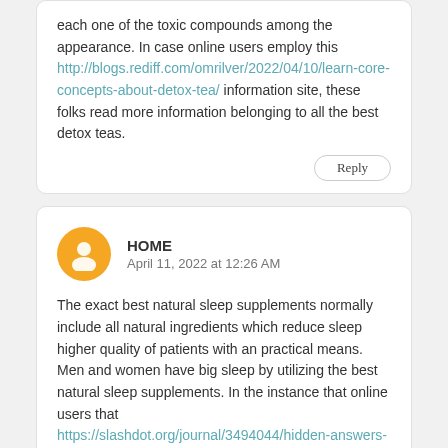each one of the toxic compounds among the appearance. In case online users employ this http://blogs.rediff.com/omrilver/2022/04/10/learn-core-concepts-about-detox-tea/ information site, these folks read more information belonging to all the best detox teas.
Reply
HOME
April 11, 2022 at 12:26 AM
The exact best natural sleep supplements normally include all natural ingredients which reduce sleep higher quality of patients with an practical means. Men and women have big sleep by utilizing the best natural sleep supplements. In the instance that online users that https://slashdot.org/journal/3494044/hidden-answers-to-sleep-support-supplements-revealed location, they begin to read more just all the best natural sleep supplements.
Reply